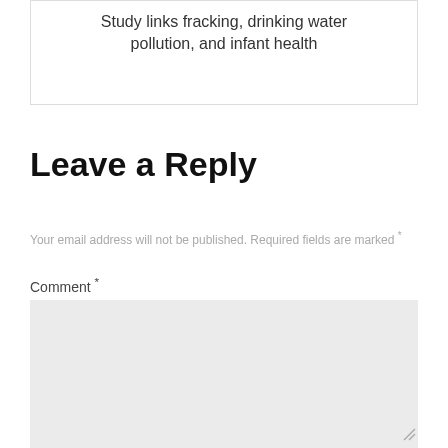Study links fracking, drinking water pollution, and infant health
Leave a Reply
Your email address will not be published. Required fields are marked *
Comment *